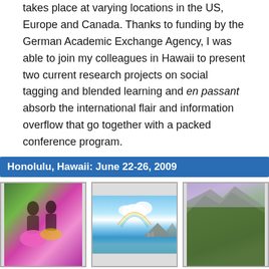takes place at varying locations in the US, Europe and Canada. Thanks to funding by the German Academic Exchange Agency, I was able to join my colleagues in Hawaii to present two current research projects on social tagging and blended learning and en passant absorb the international flair and information overflow that go together with a packed conference program.
Honolulu, Hawaii: June 22-26, 2009
[Figure (photo): Three photographs of Hawaii side by side: hula dancers in colorful costumes, ocean view with Diamond Head and rainbow, and green mountain cliffs.]
The attendees experienced a full program. In addition to various invited lectures, 310 full papers and 335 brief